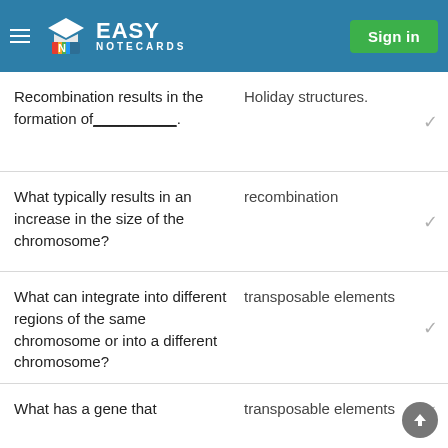EASY NOTECARDS — Sign in
Recombination results in the formation of________.
What typically results in an increase in the size of the chromosome?
What can integrate into different regions of the same chromosome or into a different chromosome?
What has a gene that